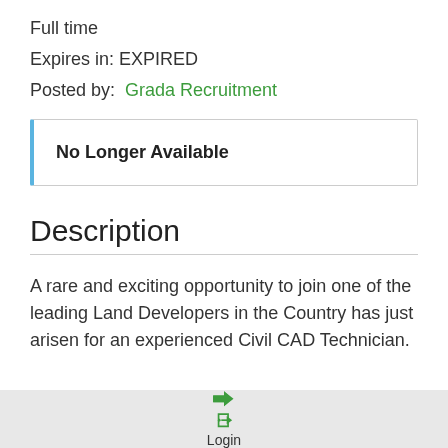Full time
Expires in: EXPIRED
Posted by: Grada Recruitment
No Longer Available
Description
A rare and exciting opportunity to join one of the leading Land Developers in the Country has just arisen for an experienced Civil CAD Technician.
Login